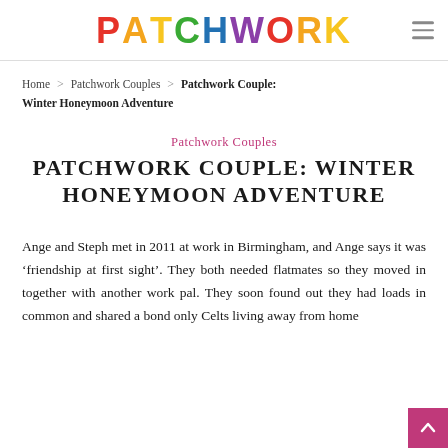PATCHWORK
Home > Patchwork Couples > Patchwork Couple: Winter Honeymoon Adventure
Patchwork Couples
PATCHWORK COUPLE: WINTER HONEYMOON ADVENTURE
Ange and Steph met in 2011 at work in Birmingham, and Ange says it was ‘friendship at first sight’. They both needed flatmates so they moved in together with another work pal. They soon found out they had loads in common and shared a bond only Celts living away from home